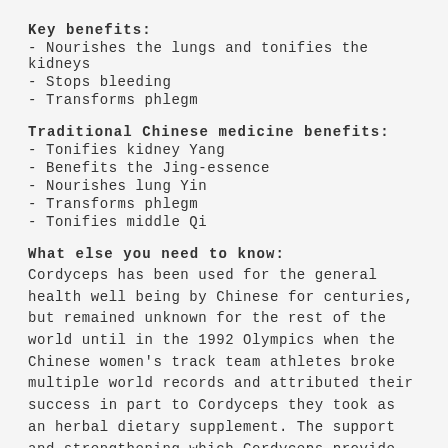Key benefits:
- Nourishes the lungs and tonifies the kidneys
- Stops bleeding
- Transforms phlegm
Traditional Chinese medicine benefits:
- Tonifies kidney Yang
- Benefits the Jing-essence
- Nourishes lung Yin
- Transforms phlegm
- Tonifies middle Qi
What else you need to know:
Cordyceps has been used for the general health well being by Chinese for centuries, but remained unknown for the rest of the world until in the 1992 Olympics when the Chinese women's track team athletes broke multiple world records and attributed their success in part to Cordyceps they took as an herbal dietary supplement. The support and strengthening which Cordyceps provide for the lungs are particularly esteemed by athletes and those who engage in endurance sports.